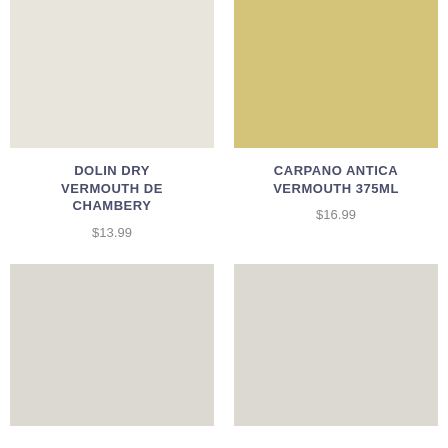[Figure (photo): Light cream/off-white color swatch rectangle for Dolin Dry Vermouth De Chambery product]
DOLIN DRY VERMOUTH DE CHAMBERY
$13.99
[Figure (photo): Golden/yellow-tan color swatch rectangle for Carpano Antica Vermouth 375ml product]
CARPANO ANTICA VERMOUTH 375ML
$16.99
[Figure (photo): Light gray color swatch rectangle for bottom-left product]
[Figure (photo): Light gray color swatch rectangle for bottom-right product]